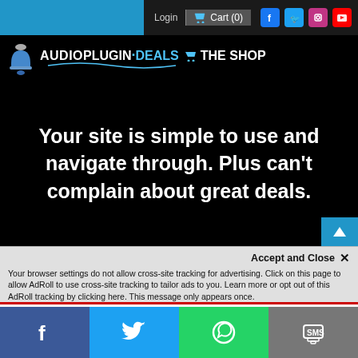Login  Cart (0)  [Facebook] [Twitter] [Instagram] [YouTube]
[Figure (logo): AudioPlugin.Deals The Shop logo with blue text on black background]
Your site is simple to use and navigate through. Plus can't complain about great deals.
Accept and Close ✕
Your browser settings do not allow cross-site tracking for advertising. Click on this page to allow AdRoll to use cross-site tracking to tailor ads to you. Learn more or opt out of this AdRoll tracking by clicking here. This message only appears once.
Our Back to School mega event is on! Use code APD-BACK2SCHOOL22 at checkout to get 15% off...
[Figure (infographic): Social media footer bar with Facebook, Twitter, WhatsApp, and SMS icons]